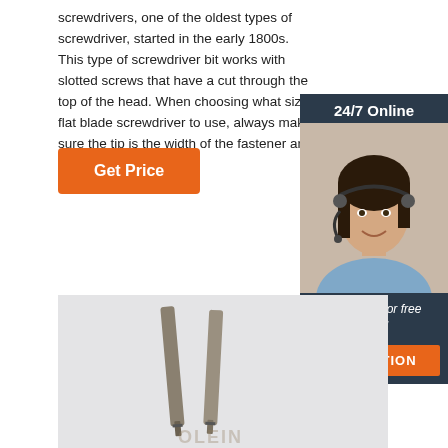screwdrivers, one of the oldest types of screwdriver, started in the early 1800s. This type of screwdriver bit works with slotted screws that have a cut through the top of the head. When choosing what size flat blade screwdriver to use, always make sure the tip is the width of the fastener and the bit fits snugly.
[Figure (other): Orange button labeled 'Get Price']
[Figure (photo): Customer service representative with headset, smiling, with '24/7 Online' header, 'Click here for free chat!' text and orange QUOTATION button, on dark blue background sidebar]
[Figure (photo): Close-up photograph of two screwdriver bits on a light gray surface, with watermark text partially visible at bottom]